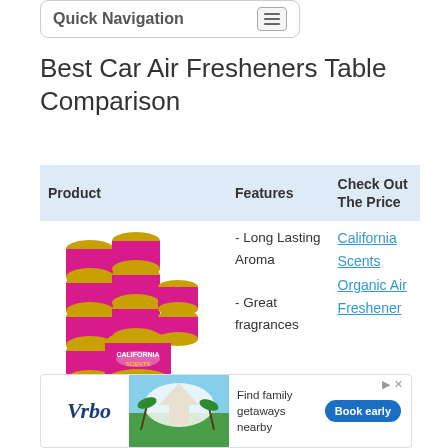Quick Navigation
Best Car Air Fresheners Table Comparison
| Product | Features | Check Out The Price |
| --- | --- | --- |
| [California Scents product image] | - Long Lasting Aroma
- Great fragrances | California Scents Organic Air Freshener |
[Figure (photo): Vrbo advertisement banner showing beach/tropical getaway, with Vrbo logo, 'Find family getaways nearby' text, and 'Book early' button]